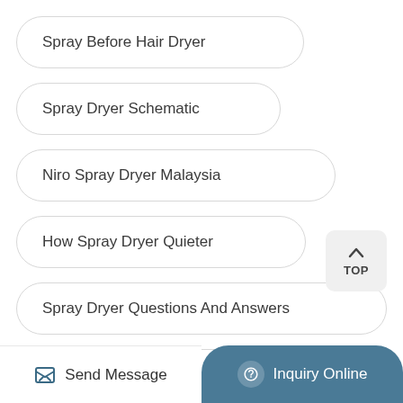Spray Before Hair Dryer
Spray Dryer Schematic
Niro Spray Dryer Malaysia
How Spray Dryer Quieter
Spray Dryer Questions And Answers
Spray Dryer Manufacturers In Coimbatore
Send Message  Inquiry Online